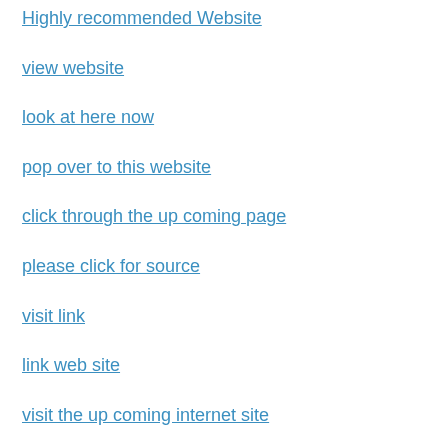Highly recommended Website
view website
look at here now
pop over to this website
click through the up coming page
please click for source
visit link
link web site
visit the up coming internet site
Full Record